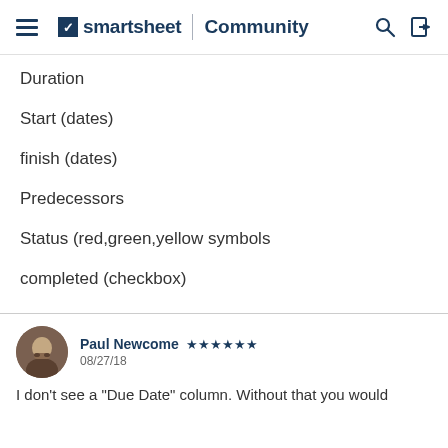smartsheet | Community
Duration
Start (dates)
finish (dates)
Predecessors
Status (red,green,yellow symbols
completed (checkbox)
Paul Newcome  ★★★★★★  08/27/18
I don't see a "Due Date" column. Without that you would